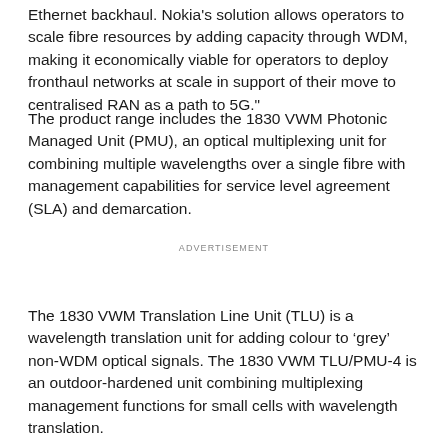Ethernet backhaul. Nokia's solution allows operators to scale fibre resources by adding capacity through WDM, making it economically viable for operators to deploy fronthaul networks at scale in support of their move to centralised RAN as a path to 5G."
The product range includes the 1830 VWM Photonic Managed Unit (PMU), an optical multiplexing unit for combining multiple wavelengths over a single fibre with management capabilities for service level agreement (SLA) and demarcation.
ADVERTISEMENT
The 1830 VWM Translation Line Unit (TLU) is a wavelength translation unit for adding colour to ‘grey’ non-WDM optical signals. The 1830 VWM TLU/PMU-4 is an outdoor-hardened unit combining multiplexing management functions for small cells with wavelength translation.